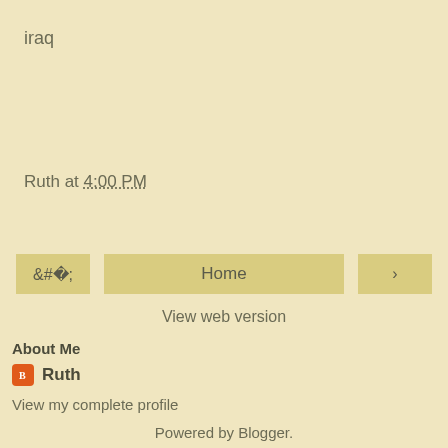iraq
Ruth at 4:00 PM
[Figure (other): Navigation buttons: left arrow, Home, right arrow]
View web version
About Me
Ruth
View my complete profile
Powered by Blogger.